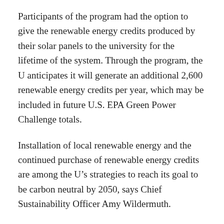Participants of the program had the option to give the renewable energy credits produced by their solar panels to the university for the lifetime of the system. Through the program, the U anticipates it will generate an additional 2,600 renewable energy credits per year, which may be included in future U.S. EPA Green Power Challenge totals.
Installation of local renewable energy and the continued purchase of renewable energy credits are among the U’s strategies to reach its goal to be carbon neutral by 2050, says Chief Sustainability Officer Amy Wildermuth.
“We are pleased and excited to be promoting and incorporating renewable energy at the U in multiple ways,” says Wildermuth. “Whether we are helping our community overcome barriers to installing solar panels on their personal homes, building renewable energy production on campus or partnering with the EPA to support green power purchasing through the Green Power Challenge, we take pride in having a